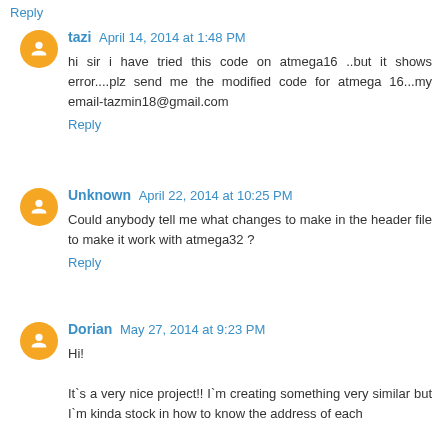Reply
tazi  April 14, 2014 at 1:48 PM
hi sir i have tried this code on atmega16 ..but it shows error....plz send me the modified code for atmega 16...my email-tazmin18@gmail.com
Reply
Unknown  April 22, 2014 at 10:25 PM
Could anybody tell me what changes to make in the header file to make it work with atmega32 ?
Reply
Dorian  May 27, 2014 at 9:23 PM
Hi!
It`s a very nice project!! I`m creating something very similar but I`m kinda stock in how to know the address of each